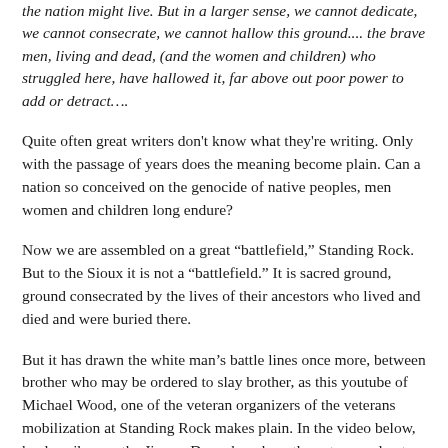the nation might live.  But in a larger sense, we cannot dedicate, we cannot consecrate, we cannot hallow this ground.... the brave men, living and dead, (and the women and children) who struggled here, have hallowed it, far above out poor power to add or detract….
Quite often great writers don't know what they're writing.  Only with the passage of years does the meaning become plain.  Can a nation so conceived on the genocide of native peoples, men women and children long endure?
Now we are assembled on a great “battlefield,” Standing Rock.  But to the Sioux it is not a “battlefield.” It is sacred ground, ground consecrated by the lives of their ancestors who lived and died and were buried there.
But it has drawn the white man’s battle lines once more, between brother who may be ordered to slay brother, as this youtube of Michael Wood, one of the veteran organizers of the veterans mobilization at Standing Rock makes plain.  In the video below, he describes on the Jimmy Dore show how the veterans plan to meet the order to disperse coming down tomorrow, December 5,